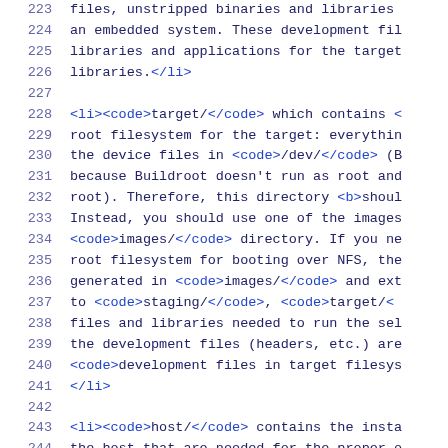223    files, unstripped binaries and libraries
224    an embedded system. These development fil
225    libraries and applications for the target
226    libraries.</li>
227
228    <li><code>target/</code> which contains <
229    root filesystem for the target: everythin
230    the device files in <code>/dev/</code> (B
231    because Buildroot doesn't run as root and
232    root). Therefore, this directory <b>shoul
233    Instead, you should use one of the images
234    <code>images/</code> directory. If you ne
235    root filesystem for booting over NFS, the
236    generated in <code>images/</code> and ext
237    to <code>staging/</code>, <code>target/
238    files and libraries needed to run the sel
239    the development files (headers, etc.) are
240    <code>development files in target filesys
241    </li>
242
243    <li><code>host/</code> contains the insta
244    the host that are needed for the proper o